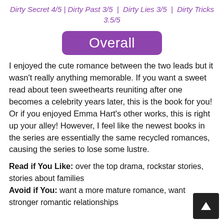Dirty Secret 4/5 | Dirty Past 3/5 | Dirty Lies 3/5 | Dirty Tricks 3.5/5
[Figure (other): Purple rounded rectangle button with white text reading 'Overall']
I enjoyed the cute romance between the two leads but it wasn't really anything memorable. If you want a sweet read about teen sweethearts reuniting after one becomes a celebrity years later, this is the book for you! Or if you enjoyed Emma Hart's other works, this is right up your alley! However, I feel like the newest books in the series are essentially the same recycled romances, causing the series to lose some lustre.
Read if You Like: over the top drama, rockstar stories, stories about families
Avoid if You: want a more mature romance, want stronger romantic relationships